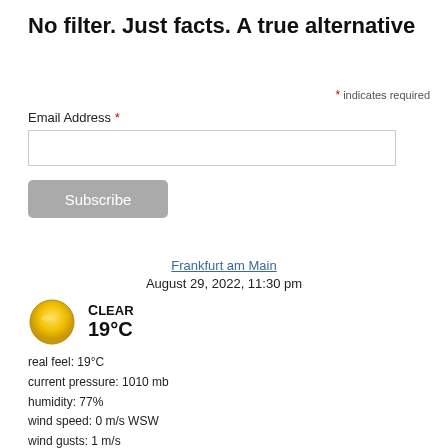No filter. Just facts. A true alternative
* indicates required
Email Address *
Subscribe
Frankfurt am Main
August 29, 2022, 11:30 pm
[Figure (illustration): Clear weather icon — golden/yellow circle representing clear sky]
CLEAR
19°C
real feel: 19°C
current pressure: 1010 mb
humidity: 77%
wind speed: 0 m/s WSW
wind gusts: 1 m/s
UV-Index: 0
sunrise: 6:25 am